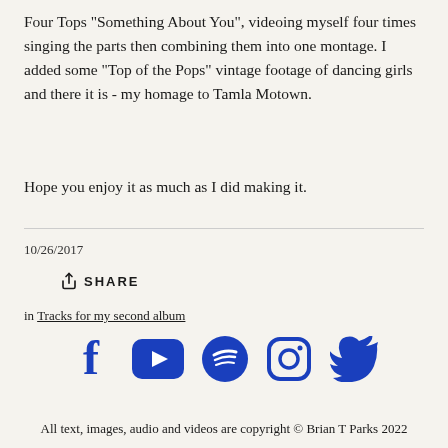Four Tops "Something About You", videoing myself four times singing the parts then combining them into one montage. I added some "Top of the Pops" vintage footage of dancing girls and there it is - my homage to Tamla Motown.
Hope you enjoy it as much as I did making it.
10/26/2017
SHARE
in Tracks for my second album
[Figure (other): Social media icons row: Facebook, YouTube, Spotify, Instagram, Twitter — all in blue]
All text, images, audio and videos are copyright © Brian T Parks 2022